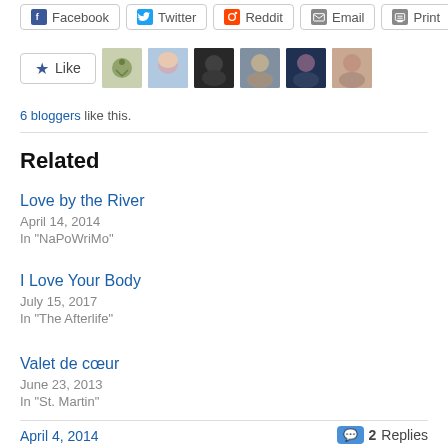[Figure (screenshot): Social share buttons: Facebook, Twitter, Reddit, Email, Print]
[Figure (screenshot): Like button with star icon and 6 blogger avatars]
6 bloggers like this.
Related
Love by the River
April 14, 2014
In "NaPoWriMo"
I Love Your Body
July 15, 2017
In "The Afterlife"
Valet de cœur
June 23, 2013
In "St. Martin"
April 4, 2014   2 Replies